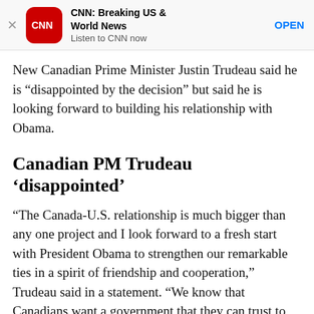[Figure (screenshot): CNN app advertisement banner with CNN logo, title 'CNN: Breaking US & World News', subtitle 'Listen to CNN now', and an OPEN button]
New Canadian Prime Minister Justin Trudeau said he is “disappointed by the decision” but said he is looking forward to building his relationship with Obama.
Canadian PM Trudeau ‘disappointed’
“The Canada-U.S. relationship is much bigger than any one project and I look forward to a fresh start with President Obama to strengthen our remarkable ties in a spirit of friendship and cooperation,” Trudeau said in a statement. “We know that Canadians want a government that they can trust to protect the environment and grow the economy. The Government of Canada will work hard to do both.